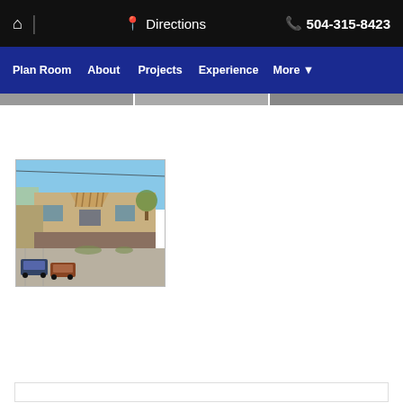🏠 | 📍 Directions  📞 504-315-8423
Plan Room  About  Projects  Experience  More ▾
[Figure (photo): Street-level photograph of a commercial building with a triangular/peaked entrance canopy, brown brick lower facade, beige upper walls, parking lot in foreground with cars, trees and utility lines visible, clear sky background.]